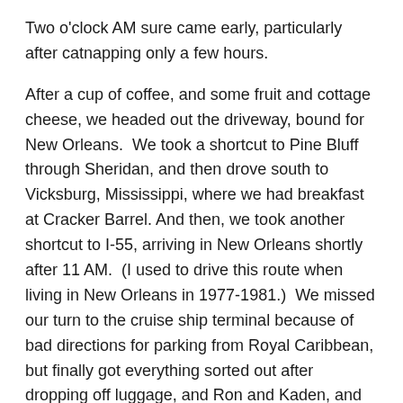Two o'clock AM sure came early, particularly after catnapping only a few hours.
After a cup of coffee, and some fruit and cottage cheese, we headed out the driveway, bound for New Orleans.  We took a shortcut to Pine Bluff through Sheridan, and then drove south to Vicksburg, Mississippi, where we had breakfast at Cracker Barrel. And then, we took another shortcut to I-55, arriving in New Orleans shortly after 11 AM.  (I used to drive this route when living in New Orleans in 1977-1981.)  We missed our turn to the cruise ship terminal because of bad directions for parking from Royal Caribbean, but finally got everything sorted out after dropping off luggage, and Ron and Kaden, and then taking over 30 minutes to park. After another 30 minutes to check in, we boarded the Royal Caribbean Navigator of the